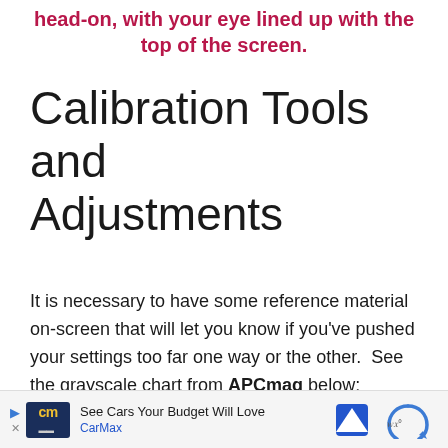head-on, with your eye lined up with the top of the screen.
Calibration Tools and Adjustments
It is necessary to have some reference material on-screen that will let you know if you've pushed your settings too far one way or the other.  See the grayscale chart from APCmag below:
[Figure (other): Grayscale chart from APCmag shown as a dark gradient bar]
[Figure (other): Advertisement bar: CarMax - See Cars Your Budget Will Love, with reCAPTCHA icon]